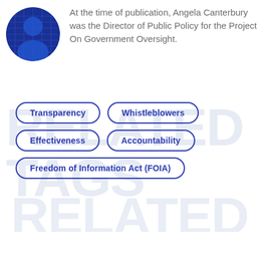[Figure (photo): Circular avatar photo of Angela Canterbury, showing a person with blue-tinted digital/tech background overlay]
At the time of publication, Angela Canterbury was the Director of Public Policy for the Project On Government Oversight.
RELATED TAGS
Transparency
Whistleblowers
Effectiveness
Accountability
Freedom of Information Act (FOIA)
RELATED